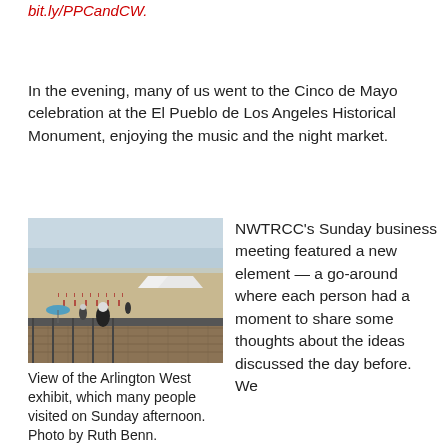bit.ly/PPCandCW.
In the evening, many of us went to the Cinco de Mayo celebration at the El Pueblo de Los Angeles Historical Monument, enjoying the music and the night market.
[Figure (photo): View of the Arlington West exhibit on a beach boardwalk with rows of small flags/markers, people walking, umbrellas, and white tents in the background. Photo by Ruth Benn.]
View of the Arlington West exhibit, which many people visited on Sunday afternoon. Photo by Ruth Benn.
NWTRCC's Sunday business meeting featured a new element — a go-around where each person had a moment to share some thoughts about the ideas discussed the day before. We